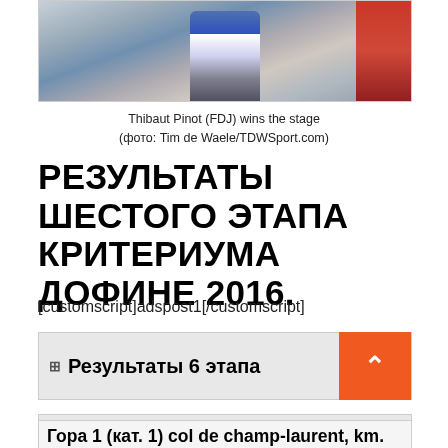[Figure (photo): Cyclists racing — Thibaut Pinot (FDJ) wins the stage, photo by Tim de Waele/TDWSport.com]
Thibaut Pinot (FDJ) wins the stage
(фото: Tim de Waele/TDWSport.com)
РЕЗУЛЬТАТЫ ШЕСТОГО ЭТАПА КРИТЕРИУМА ДОФИНЕ 2016.
[customscript]adspost1[/customscript]
Результаты 6 этапа
Очковый зачёт
Гора 1 (кат. 1) col de champ-laurent, km.